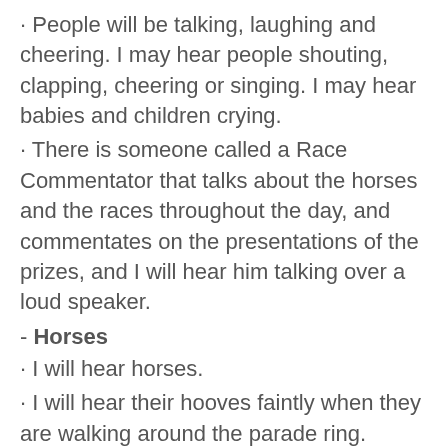· People will be talking, laughing and cheering. I may hear people shouting, clapping, cheering or singing. I may hear babies and children crying.
· There is someone called a Race Commentator that talks about the horses and the races throughout the day, and commentates on the presentations of the prizes, and I will hear him talking over a loud speaker.
- Horses
· I will hear horses.
· I will hear their hooves faintly when they are walking around the parade ring.
· If I watch the race from the track-side I will